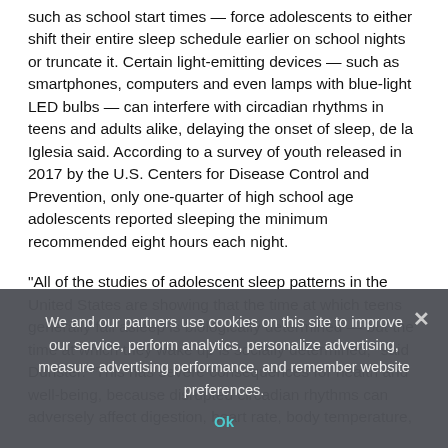such as school start times — force adolescents to either shift their entire sleep schedule earlier on school nights or truncate it. Certain light-emitting devices — such as smartphones, computers and even lamps with blue-light LED bulbs — can interfere with circadian rhythms in teens and adults alike, delaying the onset of sleep, de la Iglesia said. According to a survey of youth released in 2017 by the U.S. Centers for Disease Control and Prevention, only one-quarter of high school age adolescents reported sleeping the minimum recommended eight hours each night.
“All of the studies of adolescent sleep patterns in the United States are showing that the time at which teens generally fall asleep is biologically determined — but the time at which they wake up is socially determined,” said Dunster. “This has severe consequences for health and well-being, because disrupted circadian rhythms can adversely affect digestion, heart rate, body temperature,
We and our partners use cookies on this site to improve our service, perform analytics, personalize advertising, measure advertising performance, and remember website preferences.